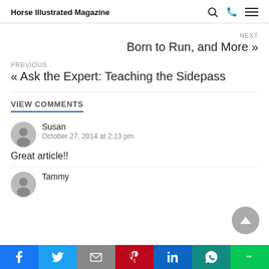Horse Illustrated Magazine
NEXT
Born to Run, and More »
PREVIOUS
« Ask the Expert: Teaching the Sidepass
VIEW COMMENTS
Susan
October 27, 2014 at 2:13 pm
Great article!!
Tammy